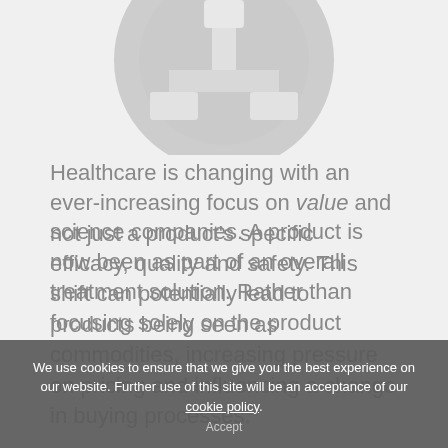[Figure (illustration): Partial view of a dark gray circular icon with cross/plus symbol and rectangular connectors, shown cropped at the top of the page on a light gray background.]
Healthcare is changing with an ever-increasing focus on value and not just a product’s specific efficacy, quality and safety. This shift can potentially lead to products being seen as commodities, increasing pressure on pricing and influencing a change in buying processes.
This trend, coupled with a growing payer emphasis on actual treatment outcomes,
We use cookies to ensure that we give you the best experience on our website. Further use of this site will be an acceptance of our cookie policy.
science companies. A product is now been as part of an overall treatment solution. Rather than focusing solely on the product
Accept